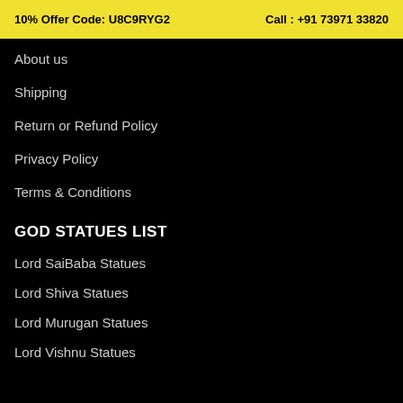10% Offer Code: U8C9RYG2    Call : +91 73971 33820
About us
Shipping
Return or Refund Policy
Privacy Policy
Terms & Conditions
GOD STATUES LIST
Lord SaiBaba Statues
Lord Shiva Statues
Lord Murugan Statues
Lord Vishnu Statues